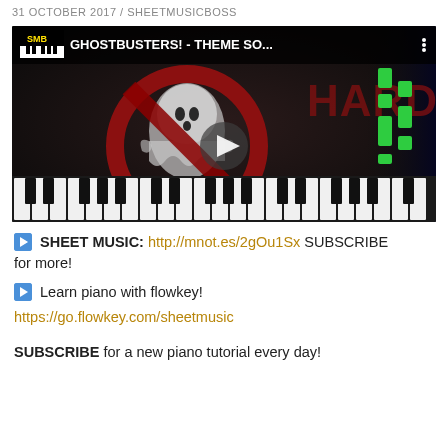31 OCTOBER 2017 / SHEETMUSICBOSS
[Figure (screenshot): YouTube video thumbnail for 'GHOSTBUSTERS! - THEME SO...' by SheetMusicBoss, showing the Ghostbusters logo with a ghost and no-ghost symbol, piano keys at the bottom, green falling notes on the right, and HARD text overlay. Play button in center.]
▶ SHEET MUSIC: http://mnot.es/2gOu1Sx SUBSCRIBE for more!
▶ Learn piano with flowkey!
https://go.flowkey.com/sheetmusic
SUBSCRIBE for a new piano tutorial every day!